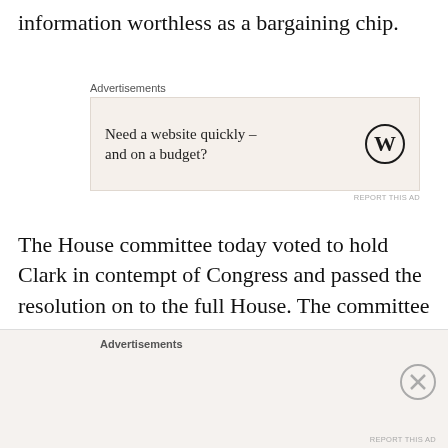information worthless as a bargaining chip.
Advertisements
[Figure (other): WordPress advertisement: 'Need a website quickly – and on a budget?' with WordPress logo]
The House committee today voted to hold Clark in contempt of Congress and passed the resolution on to the full House. The committee wrote: "The Select Committee believes that Mr. Clark had conversations with others in the Federal Government, including Members of Congress, regarding efforts to delegitimize, disrupt, or overturn the election results in the weeks leading up to January 6th" and it
Advertisements